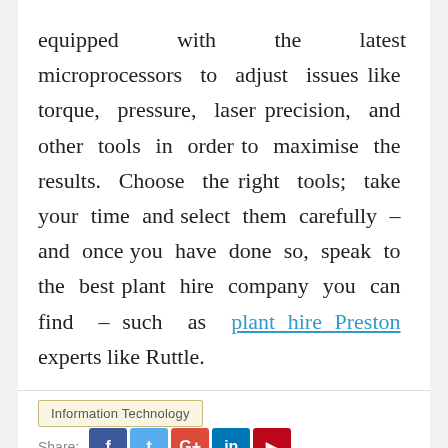equipped with the latest microprocessors to adjust issues like torque, pressure, laser precision, and other tools in order to maximise the results. Choose the right tools; take your time and select them carefully – and once you have done so, speak to the best plant hire company you can find – such as plant hire Preston experts like Ruttle.
Information Technology
Share: